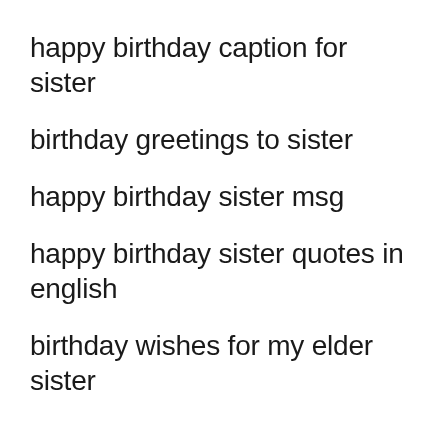happy birthday caption for sister
birthday greetings to sister
happy birthday sister msg
happy birthday sister quotes in english
birthday wishes for my elder sister